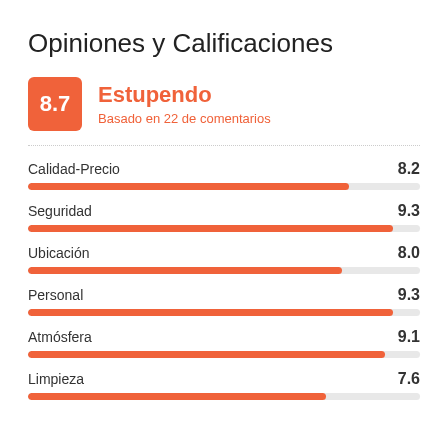Opiniones y Calificaciones
[Figure (infographic): Rating badge showing 8.7 score labeled Estupendo, based on 22 comments]
[Figure (bar-chart): Category ratings]